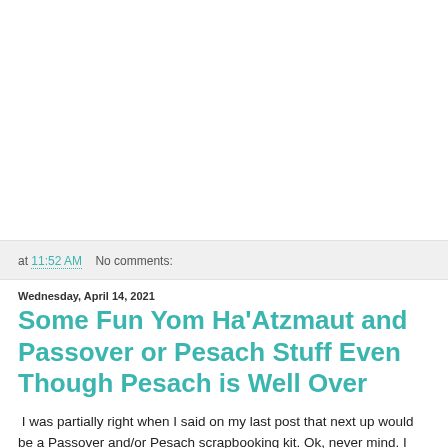at 11:52 AM   No comments:
Wednesday, April 14, 2021
Some Fun Yom Ha'Atzmaut and Passover or Pesach Stuff Even Though Pesach is Well Over
I was partially right when I said on my last post that next up would be a Passover and/or Pesach scrapbooking kit. Ok, never mind. I wasn't even partially right. The next thing I made was actually an activity pack for Yom Ha'Atzmaut which is available by clicking this preview:
[Figure (other): Orange/peach colored preview image box at bottom of page]